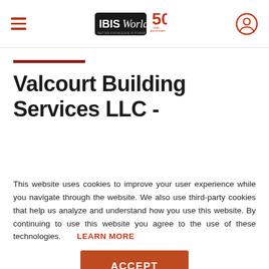IBISWorld 50th Anniversary header with hamburger menu and user icon
Valcourt Building Services LLC -
This website uses cookies to improve your user experience while you navigate through the website. We also use third-party cookies that help us analyze and understand how you use this website. By continuing to use this website you agree to the use of these technologies. LEARN MORE
ACCEPT